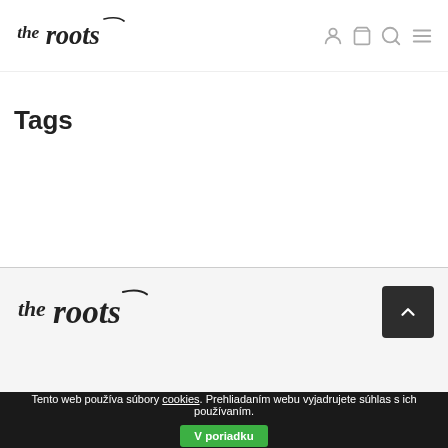the roots — navigation header with logo and icons
Tags
[Figure (logo): The Roots brand logo in handwritten/script style]
The Roots je športová značka navrhnutá so srdcom pre a prírodu. Prináša oblečenie, ktoré spája funkčnosť, orga materiály a slobodu pohybu v každodennom živote. Vyrobené
Tento web používa súbory cookies. Prehliadaním webu vyjadrujete súhlas s ich používaním. V poriadku